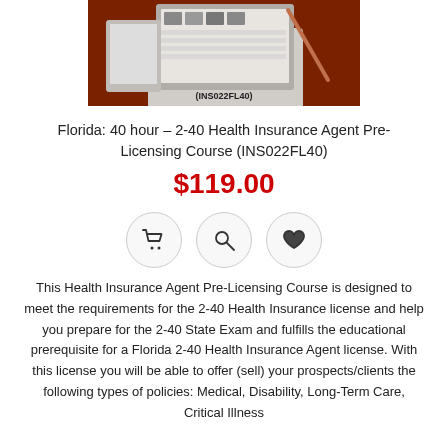[Figure (photo): Photo of a laptop and tablet on a red/brown desk with a pencil, showing product code (INS022FL40) overlaid at the bottom center]
Florida: 40 hour – 2-40 Health Insurance Agent Pre-Licensing Course (INS022FL40)
$119.00
[Figure (other): Three circular action buttons: shopping cart icon, search/magnifier icon, and heart/wishlist icon]
This Health Insurance Agent Pre-Licensing Course is designed to meet the requirements for the 2-40 Health Insurance license and help you prepare for the 2-40 State Exam and fulfills the educational prerequisite for a Florida 2-40 Health Insurance Agent license. With this license you will be able to offer (sell) your prospects/clients the following types of policies: Medical, Disability, Long-Term Care, Critical Illness